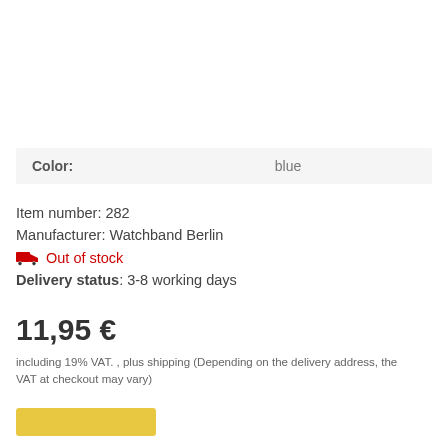| Color: | blue |
| --- | --- |
Item number: 282
Manufacturer: Watchband Berlin
🚚 Out of stock
Delivery status: 3-8 working days
11,95 €
including 19% VAT. , plus shipping (Depending on the delivery address, the VAT at checkout may vary)